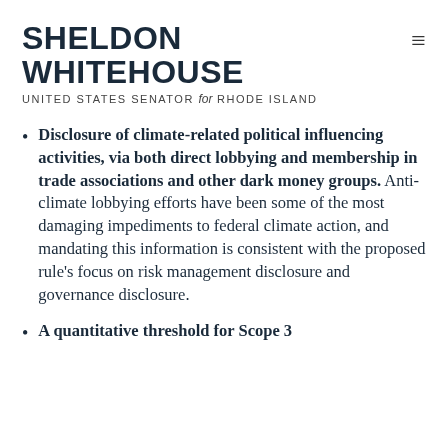SHELDON WHITEHOUSE
UNITED STATES SENATOR for RHODE ISLAND
Disclosure of climate-related political influencing activities, via both direct lobbying and membership in trade associations and other dark money groups. Anti-climate lobbying efforts have been some of the most damaging impediments to federal climate action, and mandating this information is consistent with the proposed rule’s focus on risk management disclosure and governance disclosure.
A quantitative threshold for Scope 3